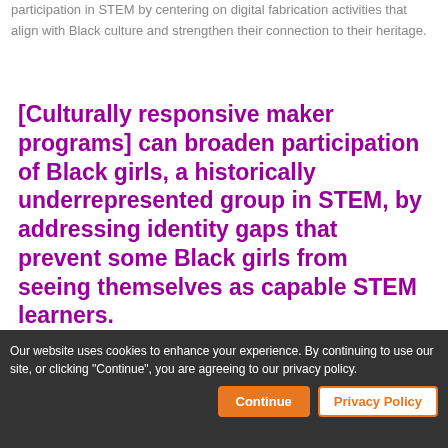participation in STEM by centering on digital fabrication activities that align with Black culture and strengthen their connection to their heritage.
[Culturally responsive maker programs] can broaden participation of Black girls, a historically underrepresented group in STEM, by addressing identity gaps that prevent some Black girls from seeing themselves as capable STEM learners.
Our website uses cookies to enhance your experience. By continuing to use our site, or clicking "Continue", you are agreeing to our privacy policy.